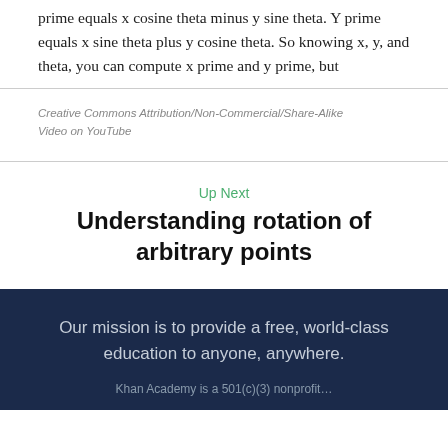prime equals x cosine theta minus y sine theta. Y prime equals x sine theta plus y cosine theta. So knowing x, y, and theta, you can compute x prime and y prime, but
Creative Commons Attribution/Non-Commercial/Share-Alike
Video on YouTube
Up Next
Understanding rotation of arbitrary points
Our mission is to provide a free, world-class education to anyone, anywhere.
Khan Academy is a 501(c)(3) nonprofit...